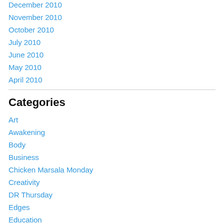December 2010
November 2010
October 2010
July 2010
June 2010
May 2010
April 2010
Categories
Art
Awakening
Body
Business
Chicken Marsala Monday
Creativity
DR Thursday
Edges
Education